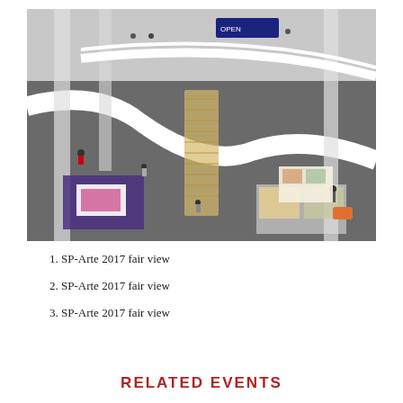[Figure (photo): Aerial/overhead interior view of SP-Arte 2017 art fair, showing multiple levels of a large exhibition hall with white walls, curved ramps, columns, and visitors browsing artworks and booths.]
1. SP-Arte 2017 fair view
2. SP-Arte 2017 fair view
3. SP-Arte 2017 fair view
RELATED EVENTS